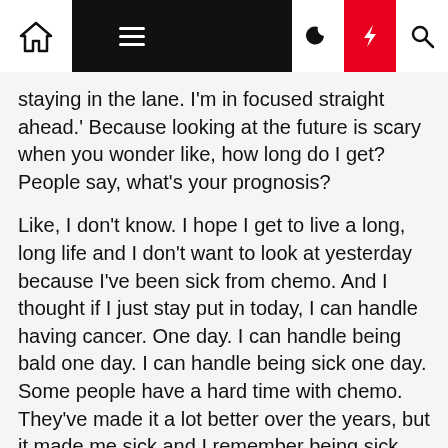Navigation bar with home, menu, moon, bolt, and search icons
staying in the lane. I'm in focused straight ahead.' Because looking at the future is scary when you wonder like, how long do I get? People say, what's your prognosis?
Like, I don't know. I hope I get to live a long, long life and I don't want to look at yesterday because I've been sick from chemo. And I thought if I just stay put in today, I can handle having cancer. One day. I can handle being bald one day. I can handle being sick one day. Some people have a hard time with chemo. They've made it a lot better over the years, but it made me sick and I remember being sick and I thought, you know, as hard as this is, I used to get sick in college from drinking. And I didn't do that to save my life. The things you do to save your life are worth it. Every bit of pain, every bit of discomfort,